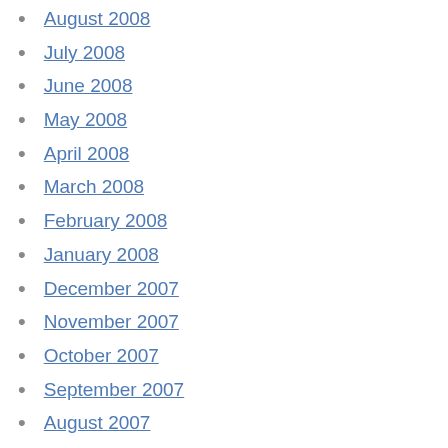August 2008
July 2008
June 2008
May 2008
April 2008
March 2008
February 2008
January 2008
December 2007
November 2007
October 2007
September 2007
August 2007
July 2007
June 2007
May 2007
April 2007